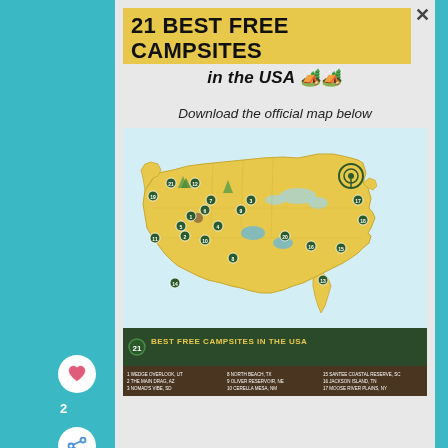21 BEST FREE CAMPSITES
in the USA 🏕️🏕️
Download the official map below
[Figure (map): Illustrated map of the USA showing 21 numbered best free campsites across the country, with colorful icons for each location. Bottom banner reads '21 BEST FREE CAMPSITES IN THE USA' with a list of all 21 campsite names and locations.]